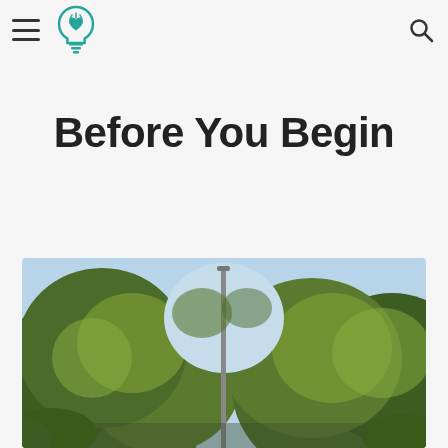[navigation header with hamburger menu, logo, and search icon]
Before You Begin
[Figure (photo): Outdoor photo showing green trees with full foliage against a light sky, with a tall pole or lamp post visible in the center. The photo is cropped to show mostly the upper canopy of the trees.]